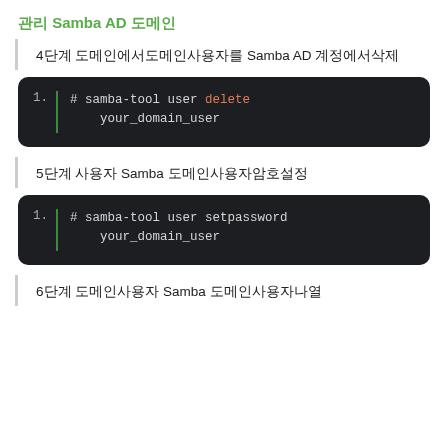관리 Samba AD 도메인
4단계 도메인에서도메인사용자를 Samba AD 계정에서삭제
[Figure (screenshot): Code block showing: # samba-tool user delete your_domain_user]
5단계 사용자 Samba 도메인사용자암호설정
[Figure (screenshot): Code block showing: # samba-tool user setpassword your_domain_user]
6단계 도메인사용자 Samba 도메인사용자나열